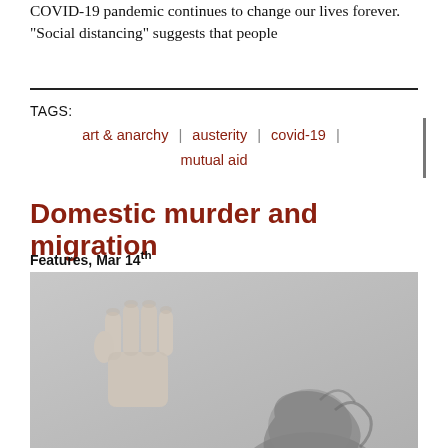COVID-19 pandemic continues to change our lives forever. “Social distancing” suggests that people
TAGS:
art & anarchy | austerity | covid-19 | mutual aid
Domestic murder and migration
Features, Mar 14th
[Figure (photo): Black and white photograph of a raised fist about to strike a person whose head is bowed, suggesting domestic violence.]